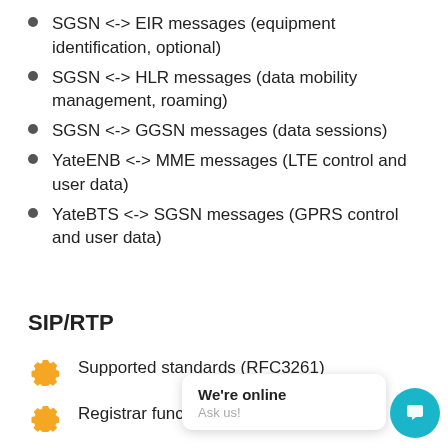SGSN <-> EIR messages (equipment identification, optional)
SGSN <-> HLR messages (data mobility management, roaming)
SGSN <-> GGSN messages (data sessions)
YateENB <-> MME messages (LTE control and user data)
YateBTS <-> SGSN messages (GPRS control and user data)
SIP/RTP
Supported standards (RFC3261)
Registrar funct
B2BUA for call